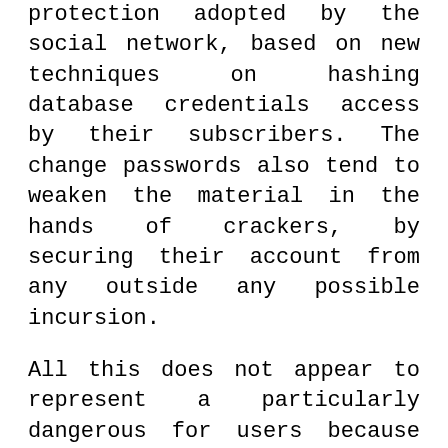protection adopted by the social network, based on new techniques on hashing database credentials access by their subscribers. The change passwords also tend to weaken the material in the hands of crackers, by securing their account from any outside any possible incursion.
All this does not appear to represent a particularly dangerous for users because online would end only the passwords stolen by crackers (protected by encryption using SHA-1), but not the username. The caution, however, in these cases is never enough and the staff of LinkedIn invites you to modify not only the key to the social network, but also that of all the services for which you used to date the same password .